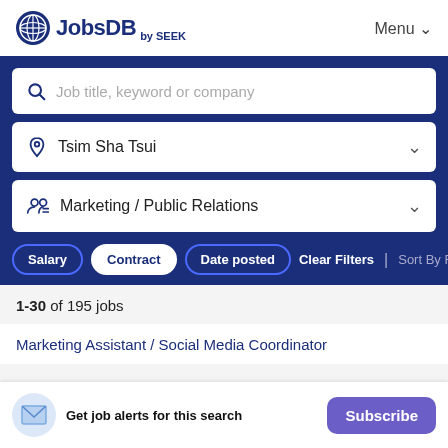[Figure (logo): JobsDB by SEEK logo with circular globe icon]
Menu ∨
[Figure (screenshot): Job search form with keyword, location (Tsim Sha Tsui), and category (Marketing / Public Relations) fields, plus filter buttons: Salary, Contract, Date posted, Clear Filters, Sort By Relev]
1-30 of 195 jobs
Marketing Assistant / Social Media Coordinator
Get job alerts for this search  Subscribe